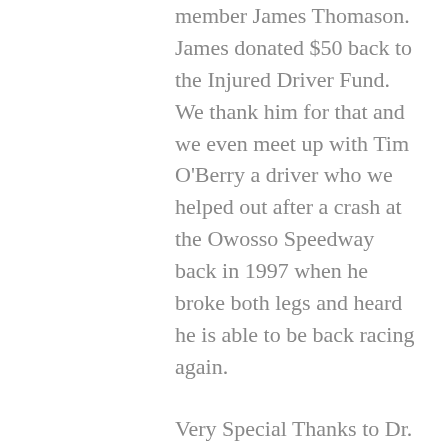member James Thomason. James donated $50 back to the Injured Driver Fund. We thank him for that and we even meet up with Tim O'Berry a driver who we helped out after a crash at the Owosso Speedway back in 1997 when he broke both legs and heard he is able to be back racing again.
Very Special Thanks to Dr. Bob and Joe DeWitt and all their staff for making the night possible for our members to return to the Auto City Speedway after many years. Many thanks to Greg Yost for your great support of our club.
Helpers for the evening (pictured below